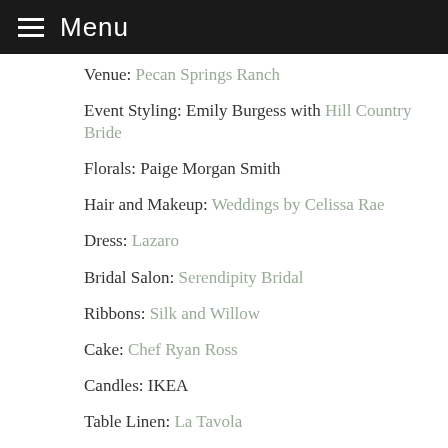Menu
Venue: Pecan Springs Ranch
Event Styling: Emily Burgess with Hill Country Bride
Florals: Paige Morgan Smith
Hair and Makeup: Weddings by Celissa Rae
Dress: Lazaro
Bridal Salon: Serendipity Bridal
Ribbons: Silk and Willow
Cake: Chef Ryan Ross
Candles: IKEA
Table Linen: La Tavola
Stationary: Paper and Posies
Groom Attire: The Black Tux
Jewelry: Kendra Scott
Cinematographers: SLF